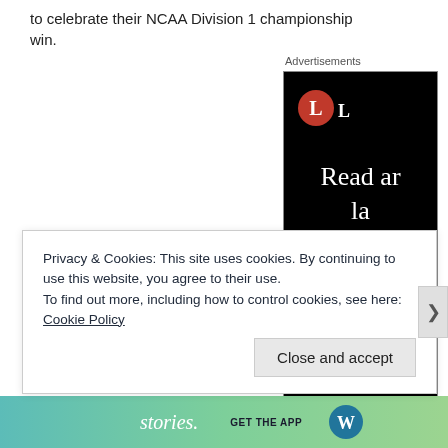to celebrate their NCAA Division 1 championship win.
[Figure (screenshot): Advertisement panel with black background showing a red circular logo with letter L, and text 'Read an la' with a red button, partially visible on the right side of the page.]
Privacy & Cookies: This site uses cookies. By continuing to use this website, you agree to their use.
To find out more, including how to control cookies, see here: Cookie Policy
Close and accept
[Figure (screenshot): Bottom bar with colorful gradient background showing 'stories.' text and 'GET THE APP' with WordPress logo.]